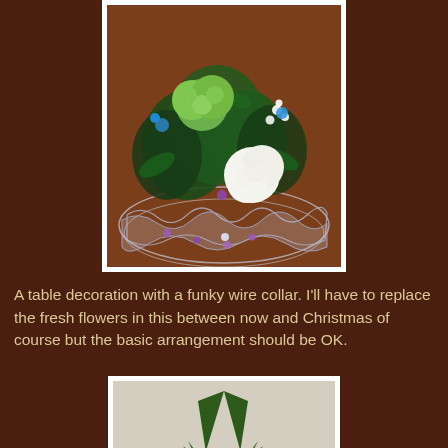[Figure (photo): A floral table decoration with white carnations, green chrysanthemums, blue and purple ornaments, and a funky wire/mesh collar base on a wooden table.]
A table decoration with a funky wire collar. I'll have to replace the fresh flowers in this between now and Christmas of course but the basic arrangement should be OK.
[Figure (photo): A Christmas greenery arrangement with pine branches, a star ornament, purple ornaments, pine cones, a striped ribbon, and a dried orange slice.]